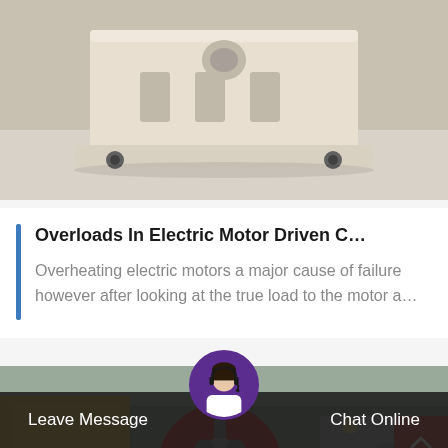[Figure (photo): Industrial mechanical part — beige/cream colored heavy equipment component (appears to be a jaw crusher or press component) on a light grey factory floor, viewed from above.]
Overloads In Electric Motor Driven C…
Overheating electric motors a major cause of failure however after looking at the true load to the motor a…
[Figure (photo): Large red flywheel or pulley with spoke design in an industrial factory setting. Yellow machinery visible in background, workers and industrial lighting visible.]
Leave Message   Chat Online